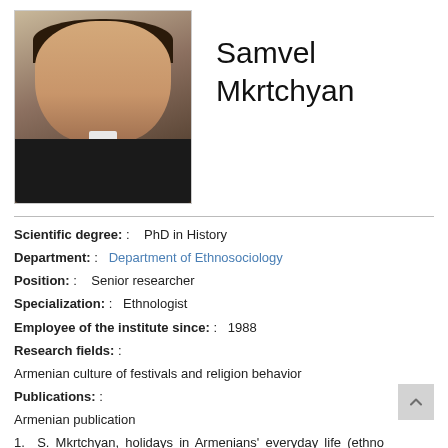[Figure (photo): Headshot photo of Samvel Mkrtchyan, a middle-aged man wearing a dark sweater and tie, looking directly at the camera.]
Samvel Mkrtchyan
Scientific degree: :    PhD in History
Department: :    Department of Ethnosociology
Position: :    Senior researcher
Specialization: :    Ethnologist
Employee of the institute since: :    1988
Research fields: :
Armenian culture of festivals and religion behavior
Publications: :
Armenian publication
1.  S. Mkrtchyan, holidays in Armenians' everyday life (ethno sociological investigation), Armenian ethnography and folklore (Hay